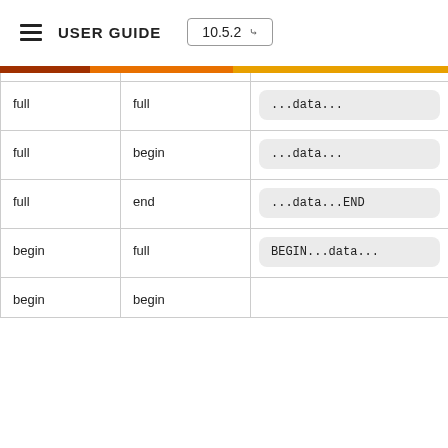USER GUIDE  10.5.2
|  |  |  |
| --- | --- | --- |
| full | full | ...data... |
| full | begin | ...data... |
| full | end | ...data...END |
| begin | full | BEGIN...data... |
| begin | begin |  |